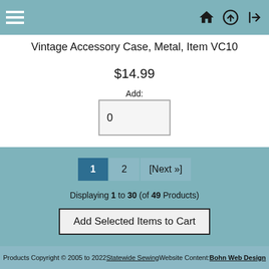Navigation header with hamburger menu, home icon, upload icon, and login icon
Vintage Accessory Case, Metal, Item VC10
$14.99
Add:
0
1  2  [Next »]
Displaying 1 to 30 (of 49 Products)
Add Selected Items to Cart
Products Copyright © 2005 to 2022 Statewide Sewing Website Content: Bohn Web Design